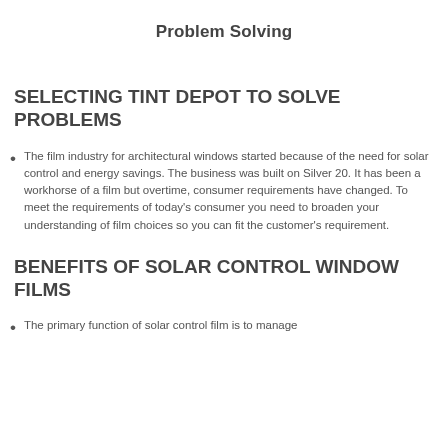Problem Solving
SELECTING TINT DEPOT TO SOLVE PROBLEMS
The film industry for architectural windows started because of the need for solar control and energy savings. The business was built on Silver 20. It has been a workhorse of a film but overtime, consumer requirements have changed. To meet the requirements of today's consumer you need to broaden your understanding of film choices so you can fit the customer's requirement.
BENEFITS OF SOLAR CONTROL WINDOW FILMS
The primary function of solar control film is to manage